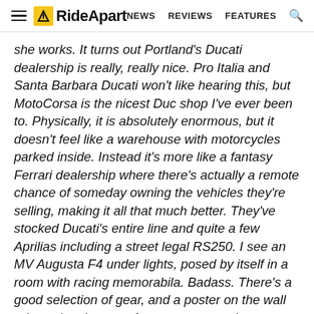RideApart — NEWS  REVIEWS  FEATURES
she works. It turns out Portland's Ducati dealership is really, really nice. Pro Italia and Santa Barbara Ducati won't like hearing this, but MotoCorsa is the nicest Duc shop I've ever been to. Physically, it is absolutely enormous, but it doesn't feel like a warehouse with motorcycles parked inside. Instead it's more like a fantasy Ferrari dealership where there's actually a remote chance of someday owning the vehicles they're selling, making it all that much better. They've stocked Ducati's entire line and quite a few Aprilias including a street legal RS250. I see an MV Augusta F4 under lights, posed by itself in a room with racing memorabila. Badass. There's a good selection of gear, and a poster on the wall advocating the use of proper motorcycle gear. More than the usual Dainese and Ducati branded